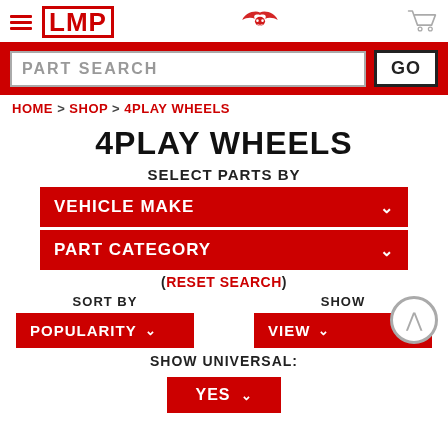[Figure (screenshot): LMP logo with hamburger menu icon on left, stylized wings logo in center, shopping cart icon on right]
[Figure (screenshot): Red search bar with PART SEARCH input box and GO button]
HOME > SHOP > 4PLAY WHEELS
4PLAY WHEELS
SELECT PARTS BY
VEHICLE MAKE
PART CATEGORY
(RESET SEARCH)
SORT BY
SHOW
POPULARITY
VIEW
SHOW UNIVERSAL:
YES